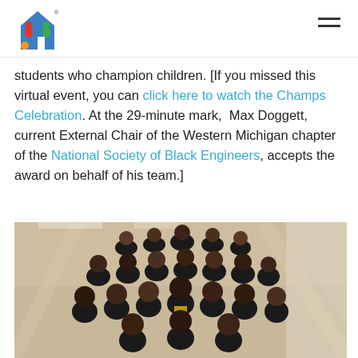Header with logo and navigation
students who champion children. [If you missed this virtual event, you can click here to watch the Champs Celebration. At the 29-minute mark, Max Doggett, current External Chair of the Western Michigan chapter of the National Society of Black Engineers, accepts the award on behalf of his team.]
[Figure (photo): Group photo of approximately 20-25 students in black t-shirts posing together on a staircase in an indoor setting, likely members of the National Society of Black Engineers at Western Michigan chapter]